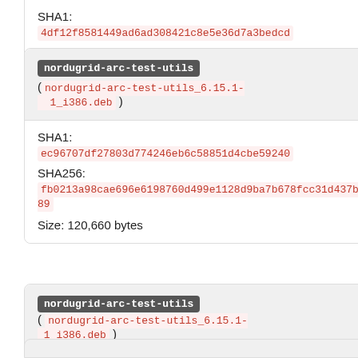SHA1:
4df12f8581449ad6ad308421c8e5e36d7a3bedcd
SHA256:
d4f000bfc9b4faeda6920f15668836e36d2288806b6cceb124dc472
Size: 663,712 bytes
nordugrid-arc-test-utils
( nordugrid-arc-test-utils_6.15.1-1_i386.deb )
SHA1:
ec96707df27803d774246eb6c58851d4cbe59240
SHA256:
fb0213a98cae696e6198760d499e1128d9ba7b678fcc31d437b9389
Size: 120,660 bytes